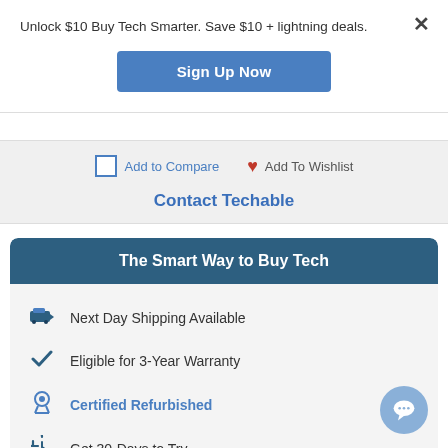Unlock $10 Buy Tech Smarter. Save $10 + lightning deals.
Sign Up Now
Add to Compare
Add To Wishlist
Contact Techable
The Smart Way to Buy Tech
Next Day Shipping Available
Eligible for 3-Year Warranty
Certified Refurbished
Get 30-Days to Try